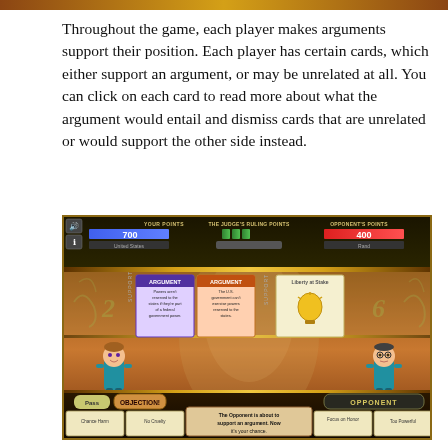Throughout the game, each player makes arguments support their position. Each player has certain cards, which either support an argument, or may be unrelated at all. You can click on each card to read more about what the argument would entail and dismiss cards that are unrelated or would support the other side instead.
[Figure (screenshot): Screenshot of a courtroom debate game UI showing points bars at top (700 for player, 400 for opponent), argument cards in the middle (ARGUMENT cards labeled purple and orange, and a Liberty at Stake card with lightbulb), animated characters at the bottom, and card action buttons including Pass, Objection!, and Opponent.]